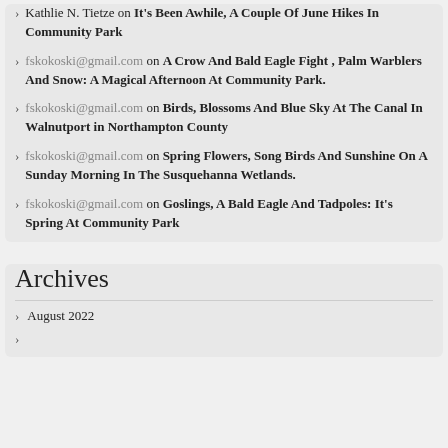Kathlie N. Tietze on It's Been Awhile, A Couple Of June Hikes In Community Park
fskokoski@gmail.com on A Crow And Bald Eagle Fight , Palm Warblers And Snow: A Magical Afternoon At Community Park.
fskokoski@gmail.com on Birds, Blossoms And Blue Sky At The Canal In Walnutport in Northampton County
fskokoski@gmail.com on Spring Flowers, Song Birds And Sunshine On A Sunday Morning In The Susquehanna Wetlands.
fskokoski@gmail.com on Goslings, A Bald Eagle And Tadpoles: It's Spring At Community Park
Archives
August 2022